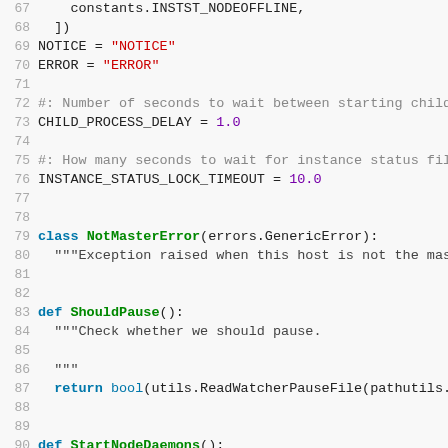[Figure (screenshot): Python source code editor showing lines 67-93 with syntax highlighting. Line numbers in gray on left, keywords in blue/bold, class/function names in green/bold, string literals in red, numeric literals in purple, comments in gray.]